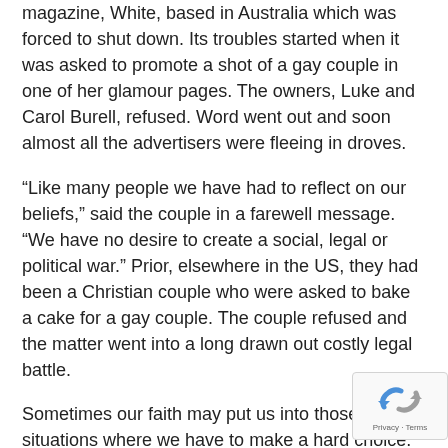magazine, White, based in Australia which was forced to shut down. Its troubles started when it was asked to promote a shot of a gay couple in one of her glamour pages. The owners, Luke and Carol Burell, refused. Word went out and soon almost all the advertisers were fleeing in droves.
“Like many people we have had to reflect on our beliefs,” said the couple in a farewell message. “We have no desire to create a social, legal or political war.” Prior, elsewhere in the US, they had been a Christian couple who were asked to bake a cake for a gay couple. The couple refused and the matter went into a long drawn out costly legal battle.
Sometimes our faith may put us into those situations where we have to make a hard choice. More so, in this age where laws are